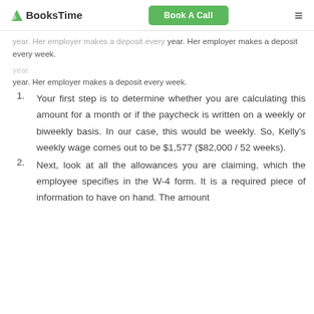BooksTime | Book A Call
year. Her employer makes a deposit every week.
Your first step is to determine whether you are calculating this amount for a month or if the paycheck is written on a weekly or biweekly basis. In our case, this would be weekly. So, Kelly's weekly wage comes out to be $1,577 ($82,000 / 52 weeks).
Next, look at all the allowances you are claiming, which the employee specifies in the W-4 form. It is a required piece of information to have on hand. The amount